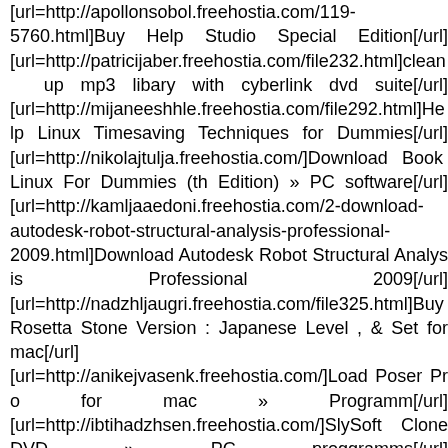[url=http://apollonsobol.freehostia.com/119-5760.html]Buy Help Studio Special Edition[/url] [url=http://patricijaber.freehostia.com/file232.html]clean up mp3 libary with cyberlink dvd suite[/url] [url=http://mijaneeshhle.freehostia.com/file292.html]Help Linux Timesaving Techniques for Dummies[/url] [url=http://nikolajtulja.freehostia.com/]Download Book Linux For Dummies (th Edition) » PC software[/url] [url=http://kamljaaedoni.freehostia.com/2-download-autodesk-robot-structural-analysis-professional-2009.html]Download Autodesk Robot Structural Analysis Professional 2009[/url] [url=http://nadzhljaugri.freehostia.com/file325.html]Buy Rosetta Stone Version : Japanese Level , & Set for mac[/url] [url=http://anikejvasenk.freehostia.com/]Load Poser Pro for mac » Programm[/url] [url=http://ibtihadzhsen.freehostia.com/]SlySoft CloneDVD » PC proggramms[/url] [url=http://ahdfabrikant.freehostia.com/]Book Visual StudioNET C for Dummies Quick Reference Guide » Soft[/url] [url=http://immanuilliuh.freehostia.com/]Load ... Microsoft